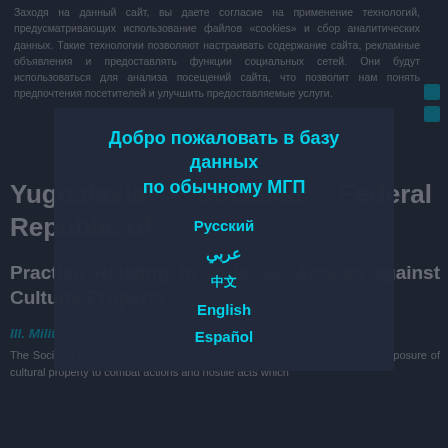Заходя на данный сайт, вы даете согласие на применение технологий, предусматривающих использование файлов «cookies» и сбор аналитических данных. Такие технологии позволяют настраивать содержание сайта, рекламные объявления и предоставлять функции социальных сетей. Они будут использоваться для анализа посещений сайта, что позволит нам понять предпочтения посетителей и улучшить предоставляемые услуги.
Добро пожаловать в базу данных по обычному МГП
Yugoslavia, Socialist Federal Republic of
Русский
عربي
Practice Relating to Rule 38. Attacks against Cultural Property
中文
English
Español
III. Military Manuals
The Socialist Federal Republic of Yugoslavia's Military (1988) prohibits the exposure of cultural property to combat actions and hostile acts which